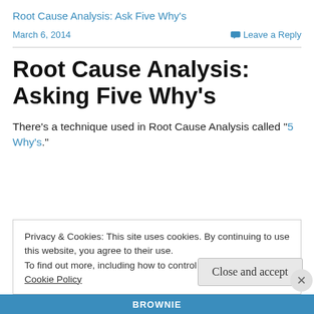Root Cause Analysis: Ask Five Why's
March 6, 2014
Leave a Reply
Root Cause Analysis: Asking Five Why's
There's a technique used in Root Cause Analysis called "5 Why's."
Privacy & Cookies: This site uses cookies. By continuing to use this website, you agree to their use.
To find out more, including how to control cookies, see here: Cookie Policy
Close and accept